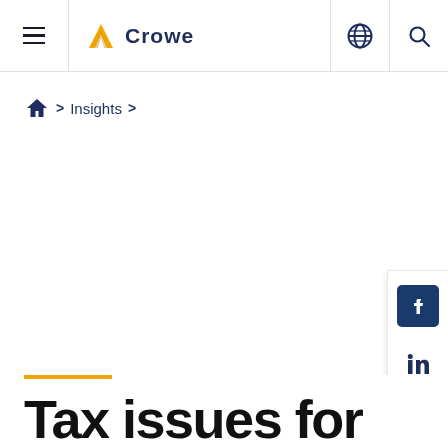Crowe — navigation header with hamburger menu, logo, globe icon, and search icon
Home > Insights >
[Figure (other): Social media sharing sidebar with Facebook, LinkedIn, and Twitter icons]
Tax issues for